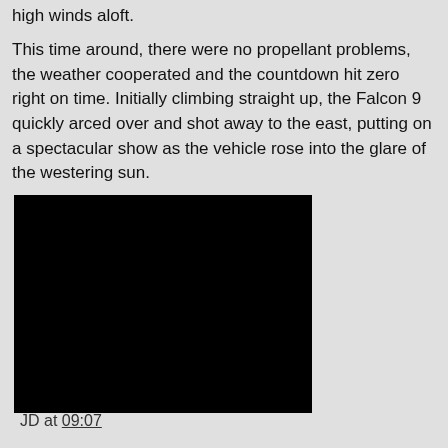high winds aloft.
This time around, there were no propellant problems, the weather cooperated and the countdown hit zero right on time. Initially climbing straight up, the Falcon 9 quickly arced over and shot away to the east, putting on a spectacular show as the vehicle rose into the glare of the westering sun.
[Figure (photo): Black/dark image, appears to be a photo of a rocket launch or nighttime scene, displayed as a black rectangle]
JD at 09:07